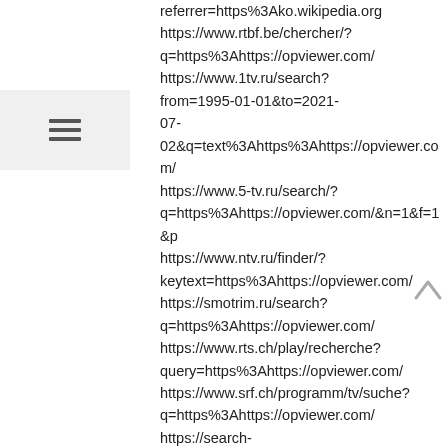[Figure (other): Hamburger menu icon (three horizontal lines) inside a light grey rectangular box, positioned in the left sidebar]
referrer=https%3Ako.wikipedia.org
https://www.rtbf.be/chercher/?q=https%3Ahttps://opviewer.com/
https://www.1tv.ru/search?from=1995-01-01&to=2021-07-02&q=text%3Ahttps%3Ahttps://opviewer.com/
https://www.5-tv.ru/search/?q=https%3Ahttps://opviewer.com/&n=1&f=1&p
https://www.ntv.ru/finder/?keytext=https%3Ahttps://opviewer.com/
https://smotrim.ru/search?q=https%3Ahttps://opviewer.com/
https://www.rts.ch/play/recherche?query=https%3Ahttps://opviewer.com/
https://www.srf.ch/programm/tv/suche?q=https%3Ahttps://opviewer.com/
https://search-beta.abc.net.au/#/?query=https%3Ahttps://opviewer.com/
https://www.sbs.com.au/search?query=https%3Ahttps://opviewer.com/&p=1